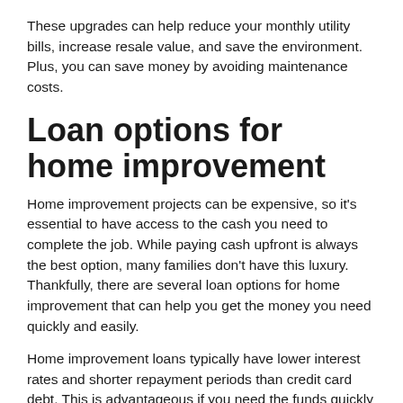These upgrades can help reduce your monthly utility bills, increase resale value, and save the environment. Plus, you can save money by avoiding maintenance costs.
Loan options for home improvement
Home improvement projects can be expensive, so it’s essential to have access to the cash you need to complete the job. While paying cash upfront is always the best option, many families don’t have this luxury. Thankfully, there are several loan options for home improvement that can help you get the money you need quickly and easily.
Home improvement loans typically have lower interest rates and shorter repayment periods than credit card debt. This is advantageous if you need the funds quickly and for large amounts. However, you should be aware of the risk involved if you don’t pay off the loan in full within a short